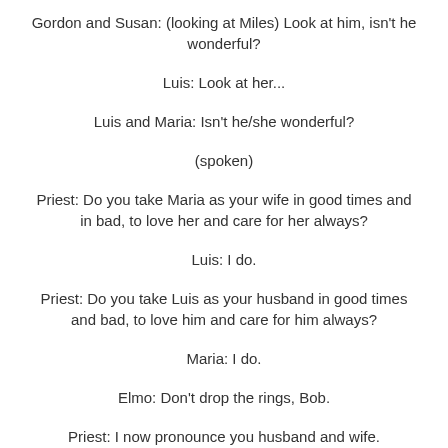Gordon and Susan: (looking at Miles) Look at him, isn't he wonderful?
Luis: Look at her...
Luis and Maria: Isn't he/she wonderful?
(spoken)
Priest: Do you take Maria as your wife in good times and in bad, to love her and care for her always?
Luis: I do.
Priest: Do you take Luis as your husband in good times and bad, to love him and care for him always?
Maria: I do.
Elmo: Don't drop the rings, Bob.
Priest: I now pronounce you husband and wife.